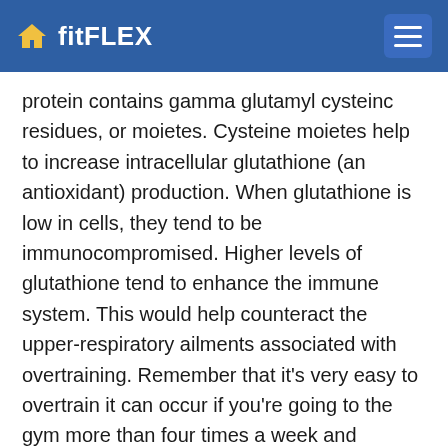fitFLEX
protein contains gamma glutamyl cysteinc residues, or moietes. Cysteine moietes help to increase intracellular glutathione (an antioxidant) production. When glutathione is low in cells, they tend to be immunocompromised. Higher levels of glutathione tend to enhance the immune system. This would help counteract the upper-respiratory ailments associated with overtraining. Remember that it's very easy to overtrain it can occur if you're going to the gym more than four times a week and working out for more than U4 hours each time. Whey protein, with its immuno-enhancing properties, seems to help offset the effects of overtraining, bringing immune-system levels hack to normal, decreasing fatigue and increasing energy levels.